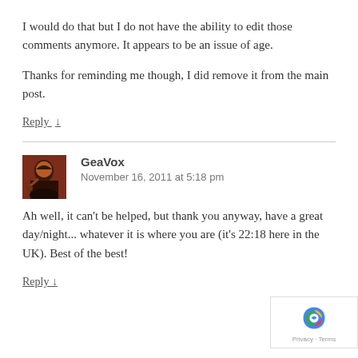I would do that but I do not have the ability to edit those comments anymore. It appears to be an issue of age.
Thanks for reminding me though, I did remove it from the main post.
Reply ↓
GeaVox
November 16, 2011 at 5:18 pm
Ah well, it can't be helped, but thank you anyway, have a great day/night... whatever it is where you are (it's 22:18 here in the UK). Best of the best!
Reply ↓